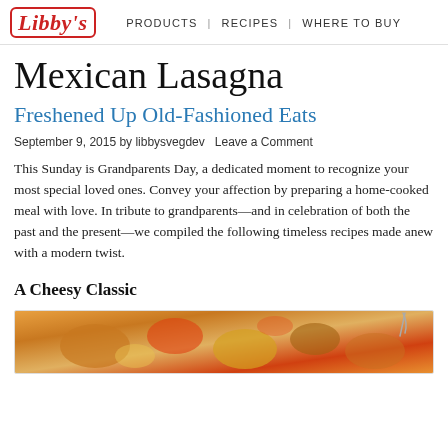Libby's | PRODUCTS | RECIPES | WHERE TO BUY
Mexican Lasagna
Freshened Up Old-Fashioned Eats
September 9, 2015 by libbysvegdev Leave a Comment
This Sunday is Grandparents Day, a dedicated moment to recognize your most special loved ones. Convey your affection by preparing a home-cooked meal with love. In tribute to grandparents—and in celebration of both the past and the present—we compiled the following timeless recipes made anew with a modern twist.
A Cheesy Classic
[Figure (photo): Photo of Mexican Lasagna dish, showing a colorful baked casserole with cheese and vegetables]